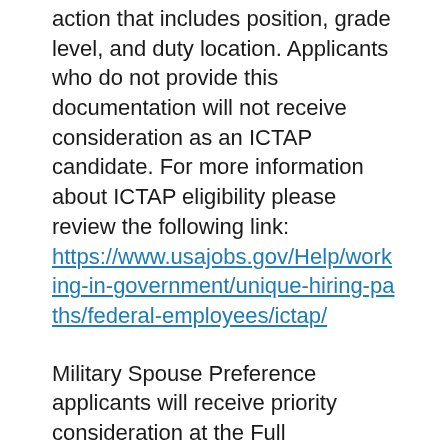action that includes position, grade level, and duty location. Applicants who do not provide this documentation will not receive consideration as an ICTAP candidate. For more information about ICTAP eligibility please review the following link: https://www.usajobs.gov/Help/working-in-government/unique-hiring-paths/federal-employees/ictap/
Military Spouse Preference applicants will receive priority consideration at the Full Performance Level (FPL) and if determined to be Best Qualified at the FPL, and selected, must be placed at the FPL. A BQ military spouse possesses knowledge, skills, abilities, and competencies comparable to others who meet the competitive referral criteria for the specific position.
Cont'd on next page... (partial)